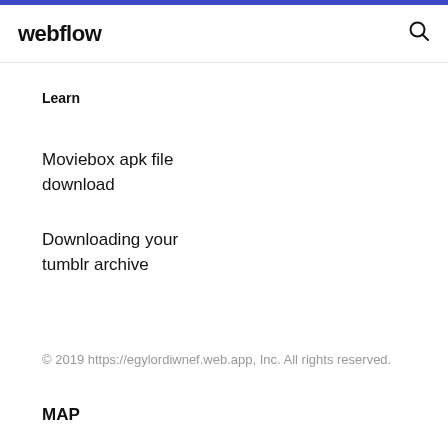webflow
Learn
Moviebox apk file download
Downloading your tumblr archive
© 2019 https://egylordiwnef.web.app, Inc. All rights reserved.
MAP